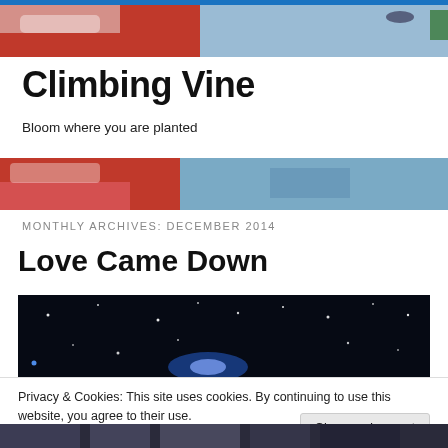[Figure (photo): Colorful Christmas-themed header image with red and white decorations, top portion]
Climbing Vine
Bloom where you are planted
[Figure (photo): Colorful Christmas-themed header image, bottom portion with red and white patterns]
MONTHLY ARCHIVES: DECEMBER 2014
Love Came Down
[Figure (photo): Night sky with stars on a dark background]
Privacy & Cookies: This site uses cookies. By continuing to use this website, you agree to their use.
To find out more, including how to control cookies, see here: Cookie Policy
Close and accept
[Figure (photo): Black and white image strip at the bottom of the page]